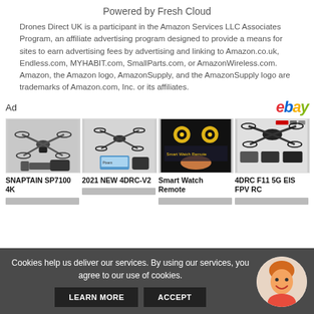Powered by Fresh Cloud
Drones Direct UK is a participant in the Amazon Services LLC Associates Program, an affiliate advertising program designed to provide a means for sites to earn advertising fees by advertising and linking to Amazon.co.uk, Endless.com, MYHABIT.com, SmallParts.com, or AmazonWireless.com. Amazon, the Amazon logo, AmazonSupply, and the AmazonSupply logo are trademarks of Amazon.com, Inc. or its affiliates.
[Figure (screenshot): eBay advertisement section showing 4 drone/gadget products: SNAPTAIN SP7100 4K, 2021 NEW 4DRC-V2, Smart Watch Remote, 4DRC F11 5G EIS FPV RC]
Cookies help us deliver our services. By using our services, you agree to our use of cookies.